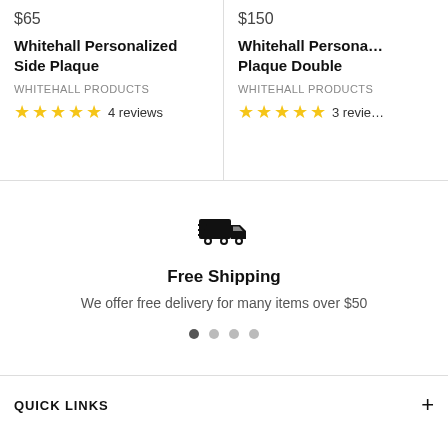$65
$150
Whitehall Personalized Side Plaque
Whitehall Personalized Plaque Double
WHITEHALL PRODUCTS
WHITEHALL PRODUCTS
4 reviews
3 reviews
[Figure (illustration): Delivery truck icon indicating free shipping]
Free Shipping
We offer free delivery for many items over $50
QUICK LINKS